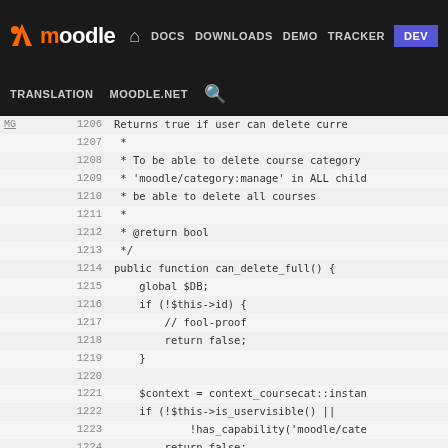Moodle navigation bar with DOCS, DOWNLOADS, DEMO, TRACKER, DEV links and TRANSLATION, MOODLE.NET, search
[Figure (screenshot): Moodle developer documentation website screenshot showing PHP source code viewer with line numbers and commit hashes. Lines 1206-1232 visible showing can_delete_full() function.]